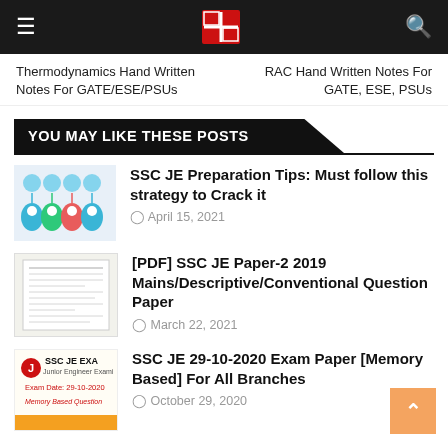Thermodynamics Hand Written Notes For GATE/ESE/PSUs
RAC Hand Written Notes For GATE, ESE, PSUs
YOU MAY LIKE THESE POSTS
[Figure (illustration): Thumbnail image with colorful location pin icons and small icons above them for SSC JE Preparation Tips post]
SSC JE Preparation Tips: Must follow this strategy to Crack it
April 15, 2021
[Figure (photo): Thumbnail of a paper/document PDF for SSC JE Paper-2 2019]
[PDF] SSC JE Paper-2 2019 Mains/Descriptive/Conventional Question Paper
March 22, 2021
[Figure (photo): Thumbnail for SSC JE Exam paper with red exam date text reading 29-10-2020 and Memory Based Questions]
SSC JE 29-10-2020 Exam Paper [Memory Based] For All Branches
October 29, 2020